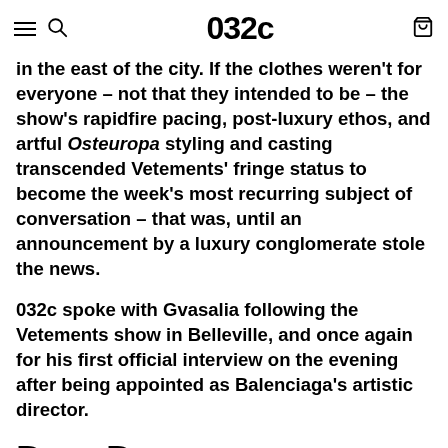032c
in the east of the city. If the clothes weren't for everyone – not that they intended to be – the show's rapidfire pacing, post-luxury ethos, and artful Osteuropa styling and casting transcended Vetements' fringe status to become the week's most recurring subject of conversation – that was, until an announcement by a luxury conglomerate stole the news.

032c spoke with Gvasalia following the Vetements show in Belleville, and once again for his first official interview on the evening after being appointed as Balenciaga's artistic director.
Dear Dem...